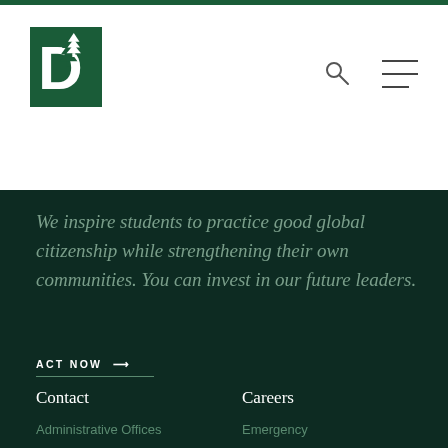[Figure (logo): Dartmouth College green D logo with pine tree]
We inspire students to practice good global citizenship while strengthening their own communities. You can invest in our future leaders.
ACT NOW →
Contact
Careers
Administrative Offices
Emergency